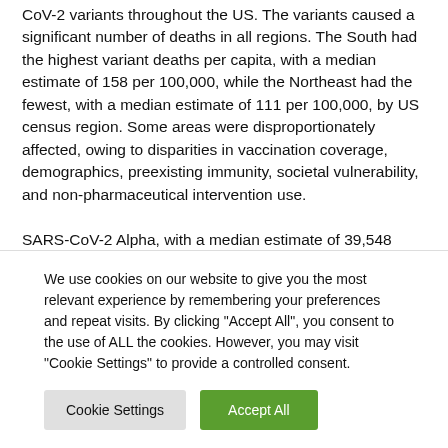CoV-2 variants throughout the US. The variants caused a significant number of deaths in all regions. The South had the highest variant deaths per capita, with a median estimate of 158 per 100,000, while the Northeast had the fewest, with a median estimate of 111 per 100,000, by US census region. Some areas were disproportionately affected, owing to disparities in vaccination coverage, demographics, preexisting immunity, societal vulnerability, and non-pharmaceutical intervention use.
SARS-CoV-2 Alpha, with a median estimate of 39,548 deaths, Omicron (117,560), and Delta (272,001) were...
We use cookies on our website to give you the most relevant experience by remembering your preferences and repeat visits. By clicking "Accept All", you consent to the use of ALL the cookies. However, you may visit "Cookie Settings" to provide a controlled consent.